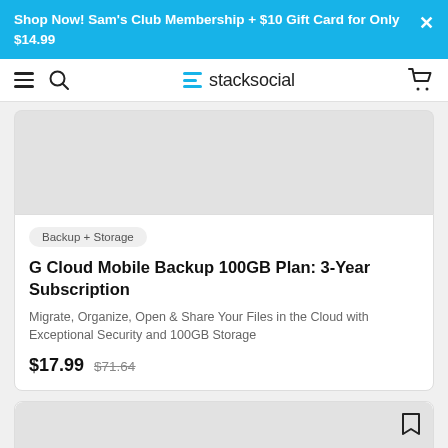Shop Now! Sam's Club Membership + $10 Gift Card for Only $14.99
[Figure (logo): stacksocial logo with hamburger menu, search icon, and cart icon in navigation bar]
[Figure (photo): Product image placeholder (gray rectangle)]
Backup + Storage
G Cloud Mobile Backup 100GB Plan: 3-Year Subscription
Migrate, Organize, Open & Share Your Files in the Cloud with Exceptional Security and 100GB Storage
$17.99  $71.64
[Figure (photo): Second product card placeholder (gray rectangle with bookmark icon)]